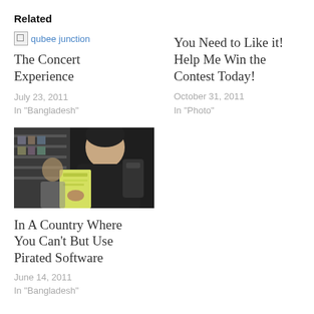Related
[Figure (photo): Broken image placeholder with link text 'qubee junction']
The Concert Experience
July 23, 2011
In "Bangladesh"
You Need to Like it! Help Me Win the Contest Today!
October 31, 2011
In "Photo"
[Figure (photo): Black and white photo of a person in a shop holding a booklet/magazine, wearing a backpack]
In A Country Where You Can't But Use Pirated Software
June 14, 2011
In "Bangladesh"